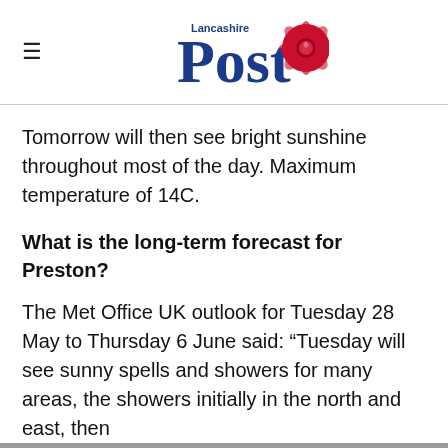Lancashire Post
Tomorrow will then see bright sunshine throughout most of the day. Maximum temperature of 14C.
What is the long-term forecast for Preston?
The Met Office UK outlook for Tuesday 28 May to Thursday 6 June said: “Tuesday will see sunny spells and showers for many areas, the showers initially in the north and east, then developing widely through the day.